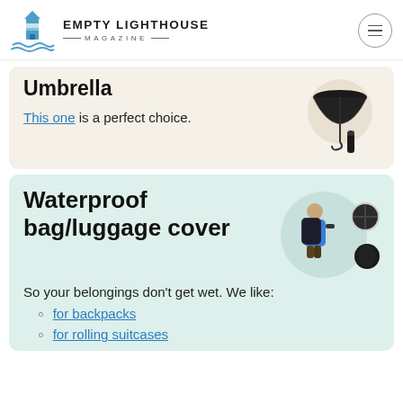EMPTY LIGHTHOUSE MAGAZINE
Umbrella
This one is a perfect choice.
[Figure (photo): A black compact travel umbrella shown open and folded]
Waterproof bag/luggage cover
[Figure (photo): A person wearing a hiking backpack with a waterproof cover, and two standalone bag cover items]
So your belongings don't get wet. We like:
for backpacks
for rolling suitcases